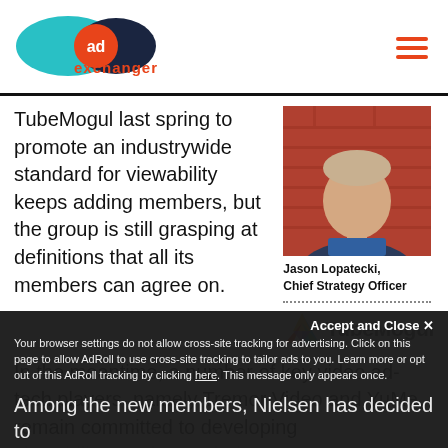AdExchanger
TubeMogul last spring to promote an industrywide standard for viewability keeps adding members, but the group is still grasping at definitions that all its members can agree on.
[Figure (photo): Headshot of Jason Lopatecki against red brick wall background]
Jason Lopatecki, Chief Strategy Officer
[Figure (logo): TubeMogul logo with colorful triangular icon]
In the meantime, a number of key video ad-tech players, namely Tremor Video and YuMe, remain committed to developing viewability metrics on their own terms.
Among the new members, Nielsen has decided to
Accept and Close ✕
Your browser settings do not allow cross-site tracking for advertising. Click on this page to allow AdRoll to use cross-site tracking to tailor ads to you. Learn more or opt out of this AdRoll tracking by clicking here. This message only appears once.